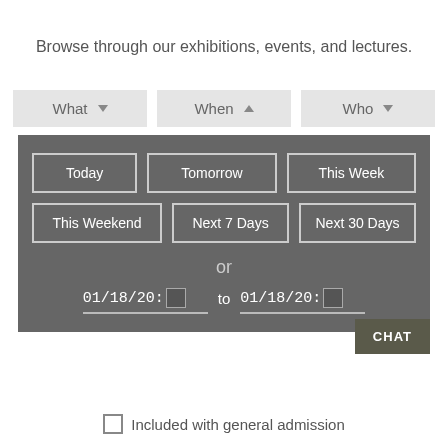Browse through our exhibitions, events, and lectures.
[Figure (screenshot): A web UI showing dropdown filter buttons (What, When, Who) and a dark panel with date-range filter options: Today, Tomorrow, This Week, This Weekend, Next 7 Days, Next 30 Days, or a date range input (01/18/20: to 01/18/20:) with calendar icons and a CHAT button.]
Included with general admission